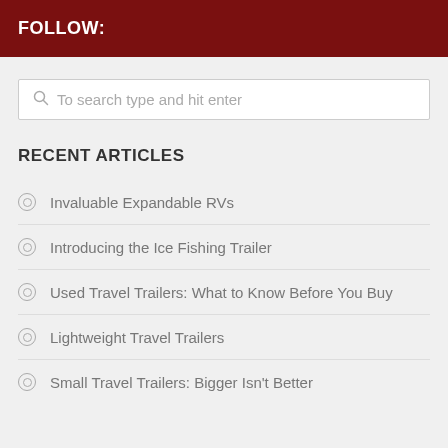FOLLOW:
To search type and hit enter
RECENT ARTICLES
Invaluable Expandable RVs
Introducing the Ice Fishing Trailer
Used Travel Trailers: What to Know Before You Buy
Lightweight Travel Trailers
Small Travel Trailers: Bigger Isn't Better